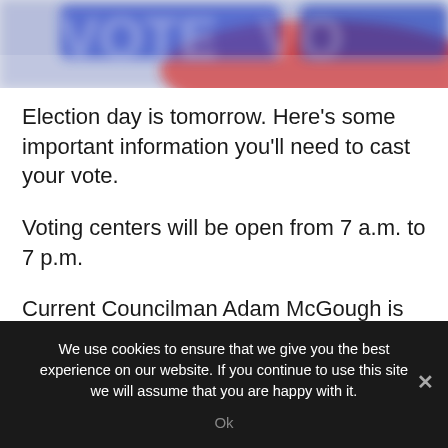[Figure (photo): Close-up photo of a blue and red 'VOTE' sticker or button with blurred background]
Election day is tomorrow. Here's some important information you'll need to cast your vote.
Voting centers will be open from 7 a.m. to 7 p.m.
Current Councilman Adam McGough is running for reelection for the district 10 seat. He is challenged by Dallas Pulse News President Sirrano Keith Baldeo and
We use cookies to ensure that we give you the best experience on our website. If you continue to use this site we will assume that you are happy with it.